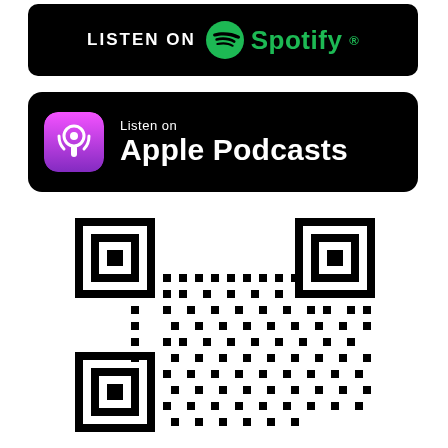[Figure (logo): Listen on Spotify badge - black rounded rectangle with Spotify logo and text]
[Figure (logo): Listen on Apple Podcasts badge - black rounded rectangle with Apple Podcasts icon and text]
[Figure (other): QR code for podcast link]